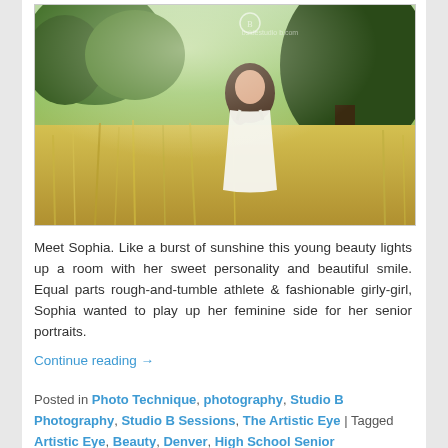[Figure (photo): Outdoor portrait photo of a young woman (Sophia) in a white dress standing in a field of tall golden grass with green trees in the background. Bright, sunny day. Studio B Photography watermark visible at top.]
Meet Sophia.  Like a burst of sunshine this young beauty lights up a room with her sweet personality and beautiful smile.  Equal parts rough-and-tumble athlete & fashionable girly-girl, Sophia wanted to play up her feminine side for her senior portraits.
Continue reading →
Posted in Photo Technique, photography, Studio B Photography, Studio B Sessions, The Artistic Eye | Tagged Artistic Eye, Beauty, Denver, High School Senior